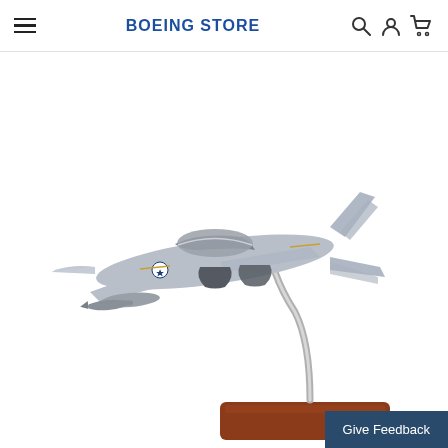BOEING STORE
[Figure (photo): A detailed scale model of an F/A-18 Super Hornet fighter jet in gray paint with US military markings, mounted on a curved chrome stand attached to a mahogany wooden base. The model is photographed against a white background.]
Give Feedback